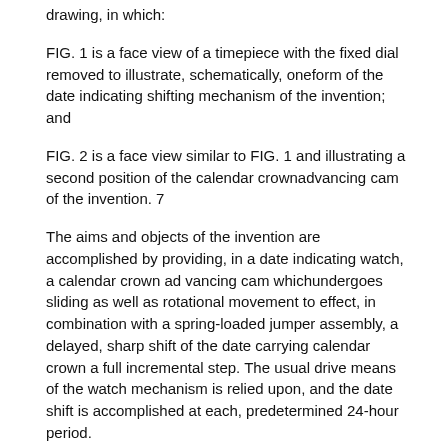drawing, in which:
FIG. 1 is a face view of a timepiece with the fixed dial removed to illustrate, schematically, oneform of the date indicating shifting mechanism of the invention; and
FIG. 2 is a face view similar to FIG. 1 and illustrating a second position of the calendar crownadvancing cam of the invention. 7
The aims and objects of the invention are accomplished by providing, in a date indicating watch, a calendar crown ad vancing cam whichundergoes sliding as well as rotational movement to effect, in combination with a spring-loaded jumper assembly, a delayed, sharp shift of the date carrying calendar crown a full incremental step. The usual drive means of the watch mechanism is relied upon, and the date shift is accomplished at each, predetermined 24-hour period.
The illustrative example provided in the drawingshows one fonn of means for effecting the incremental shift of the calendar crown, automatically. The timepiece itself contains clock work mechanism of the usual type well